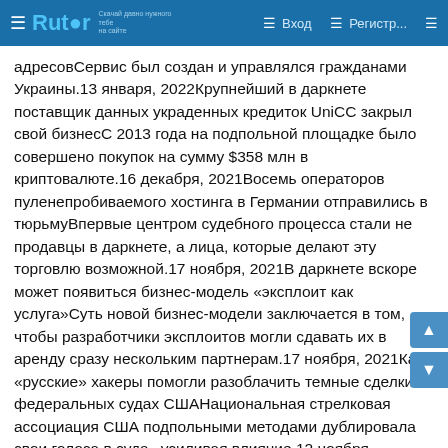Rutor — Вход — Регистр...
адресовСервис был создан и управлялся гражданами Украины.13 января, 2022Крупнейший в даркнете поставщик данных украденных кредиток UniCC закрыл свой бизнесС 2013 года на подпольной площадке было совершено покупок на сумму $358 млн в криптовалюте.16 декабря, 2021Восемь операторов пуленепробиваемого хостинга в Германии отправились в тюрьмуВпервые центром судебного процесса стали не продавцы в даркнете, а лица, которые делают эту торговлю возможной.17 ноября, 2021В даркнете вскоре может появиться бизнес-модель «эксплоит как услуга»Суть новой бизнес-модели заключается в том, чтобы разработчики эксплоитов могли сдавать их в аренду сразу нескольким партнерам.17 ноября, 2021Как «русские» хакеры помогли разоблачить темные сделки в федеральных судах СШАНациональная стрелковая ассоциация США подпольными методами дублировала свои голоса в судах, усиливая влияние.12 ноября, 2021Минцифры объявило тендер на услуги по поиску утечек из баз данных государстваСтоимость тендера составляет 68 миллионов